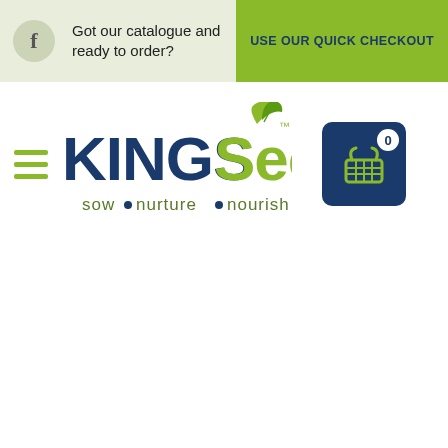Got our catalogue and ready to order? USE OUR QUICK CHECKOUT
[Figure (logo): Kings Seeds logo with tagline sow nurture nourish]
[Figure (other): Shopping cart icon with badge showing 0 items]